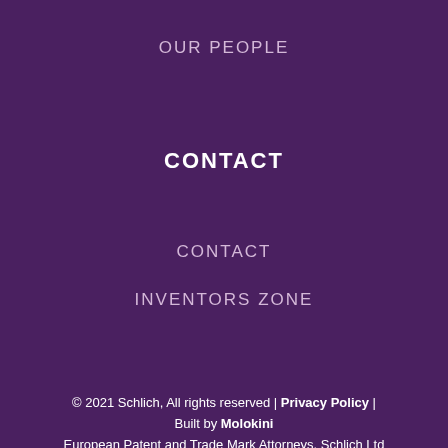OUR PEOPLE
CONTACT
CONTACT
INVENTORS ZONE
© 2021 Schlich, All rights reserved | Privacy Policy | Built by Molokini European Patent and Trade Mark Attorneys. Schlich Ltd is a UK limited company, registration no. 05238489, address: 9 St Catherine's Road, Littlehampton, West Sussex, BN17 5HS